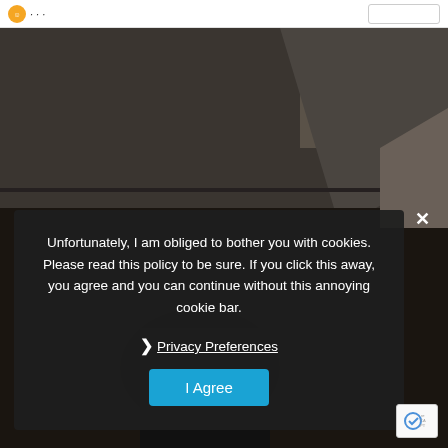[Figure (photo): Dark moody indoor photo, appears to show a person in low light environment with ceiling/room visible]
Unfortunately, I am obliged to bother you with cookies. Please read this policy to be sure. If you click this away, you agree and you can continue without this annoying cookie bar.
❯ Privacy Preferences
I Agree